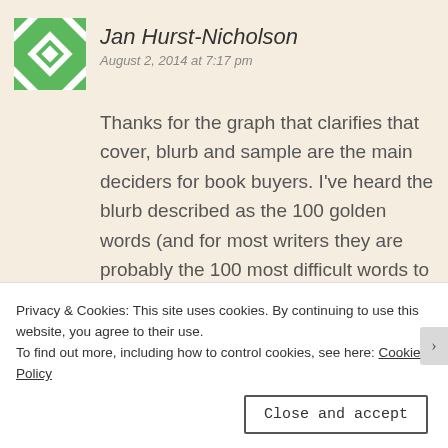[Figure (illustration): Green and white decorative avatar/icon with geometric diamond and cross pattern in a square frame]
Jan Hurst-Nicholson
August 2, 2014 at 7:17 pm
Thanks for the graph that clarifies that cover, blurb and sample are the main deciders for book buyers. I've heard the blurb described as the 100 golden words (and for most writers they are probably the 100 most difficult words to write, which is why publishers employ blurb writers!). Word of mouth has always been the best marketing tool – if only there was a way to harness that
Privacy & Cookies: This site uses cookies. By continuing to use this website, you agree to their use.
To find out more, including how to control cookies, see here: Cookie Policy
Close and accept